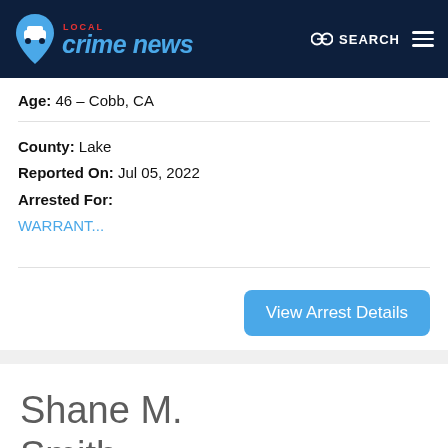Local Crime News
Age: 46 – Cobb, CA
County: Lake
Reported On: Jul 05, 2022
Arrested For:
WARRANT...
View Arrest Details
Shane M. Smith